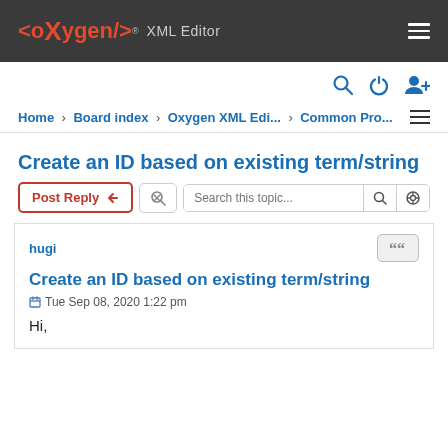<oXygen/> XML Editor
Home › Board index › Oxygen XML Edi... › Common Pro...
Create an ID based on existing term/string
Post Reply  [tool icon]  Search this topic...  [search icon]  [settings icon]
hugi
Create an ID based on existing term/string
Tue Sep 08, 2020 1:22 pm
Hi,